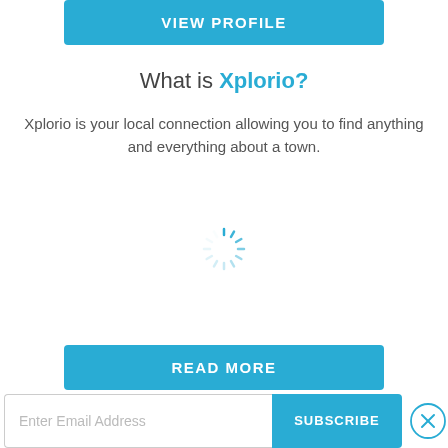[Figure (other): Blue 'VIEW PROFILE' button at top of page]
What is Xplorio?
Xplorio is your local connection allowing you to find anything and everything about a town.
[Figure (other): Loading spinner icon]
[Figure (other): Blue 'READ MORE' button partially visible at bottom]
[Figure (other): Subscribe bar with email input field and SUBSCRIBE button, and close (X) circle button]